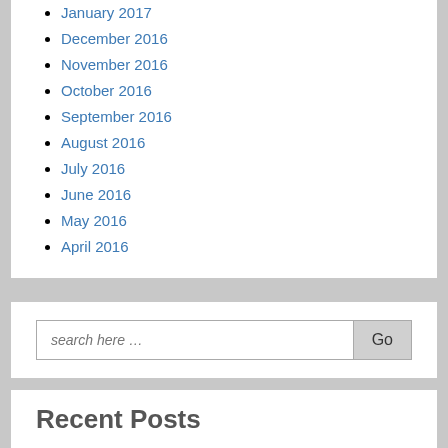January 2017
December 2016
November 2016
October 2016
September 2016
August 2016
July 2016
June 2016
May 2016
April 2016
search here …
Recent Posts
New Years Resolutions & Avoiding Déjà Vudoo